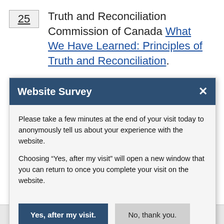25  Truth and Reconciliation Commission of Canada What We Have Learned: Principles of Truth and Reconciliation.
Website Survey
Please take a few minutes at the end of your visit today to anonymously tell us about your experience with the website.
Choosing “Yes, after my visit” will open a new window that you can return to once you complete your visit on the website.
Yes, after my visit.
No, thank you.
Share this page